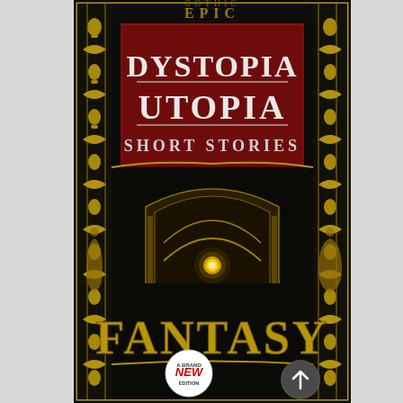[Figure (illustration): Book cover of 'Dystopia Utopia Short Stories' from the Fantasy Classic Short Stories series. Dark black background with ornate gold Art Nouveau filigree border featuring intertwined figures and decorative elements. Center top has a dark red/maroon rectangle with 'DYSTOPIA UTOPIA' in large white serif text and 'SHORT STORIES' below in smaller white text. Lower portion shows large gold 'FANTASY' text. A small glowing yellow circular element appears in the middle. Bottom center features a white circular badge with red 'NEW' text and smaller surrounding text reading 'A BRAND NEW EDITION'. A dark circular scroll/navigation button appears at the bottom right corner.]